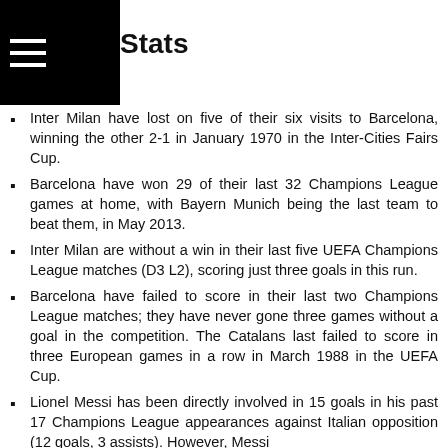Stats
Inter Milan have lost on five of their six visits to Barcelona, winning the other 2-1 in January 1970 in the Inter-Cities Fairs Cup.
Barcelona have won 29 of their last 32 Champions League games at home, with Bayern Munich being the last team to beat them, in May 2013.
Inter Milan are without a win in their last five UEFA Champions League matches (D3 L2), scoring just three goals in this run.
Barcelona have failed to score in their last two Champions League matches; they have never gone three games without a goal in the competition. The Catalans last failed to score in three European games in a row in March 1988 in the UEFA Cup.
Lionel Messi has been directly involved in 15 goals in his past 17 Champions League appearances against Italian opposition (12 goals, 3 assists). However, Messi